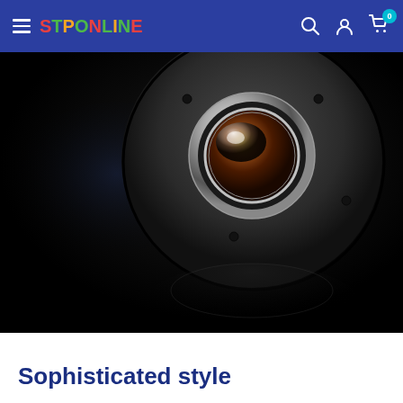STPONLINE — navigation bar with hamburger menu, logo, search, account, and cart icons
[Figure (photo): Close-up photograph of a dark/black audio speaker tweeter component on a black reflective surface. The circular speaker has a metallic dome at center with a chrome ring, mounted on a round matte black baffle. The background is very dark, showing a subtle reflection of the speaker below.]
Sophisticated style